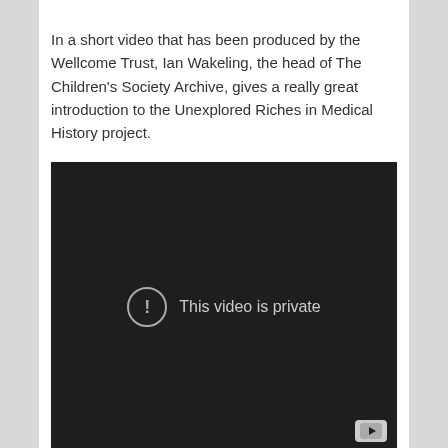In a short video that has been produced by the Wellcome Trust, Ian Wakeling, the head of The Children's Society Archive, gives a really great introduction to the Unexplored Riches in Medical History project.
[Figure (screenshot): Embedded video player showing a dark background with a circled exclamation mark icon and the text 'This video is private'. A YouTube play button icon is visible in the bottom right corner.]